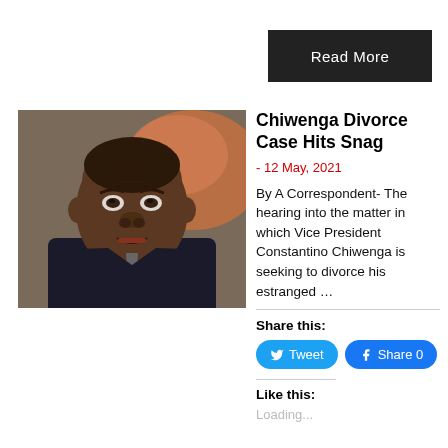Read More
[Figure (photo): Close-up photo of Vice President Constantino Chiwenga, a Black man in a dark suit and light-colored shirt/tie, looking forward with a serious expression, with a blurred orange/background behind him]
Chiwenga Divorce Case Hits Snag
- 12 May, 2021
By A Correspondent- The hearing into the matter in which Vice President Constantino Chiwenga is seeking to divorce his estranged …
Share this:
Tweet
Share 0
Like this:
Loading...